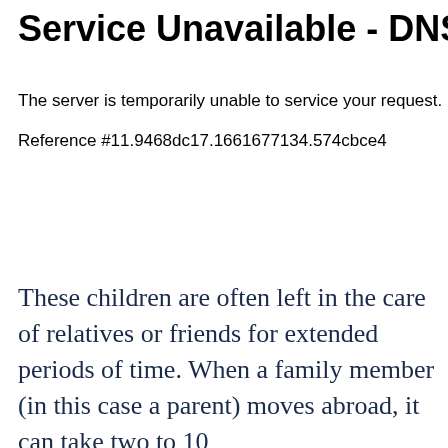Service Unavailable - DNS failu
The server is temporarily unable to service your request. Please try
Reference #11.9468dc17.1661677134.574cbce4
These children are often left in the care of relatives or friends for extended periods of time. When a family member (in this case a parent) moves abroad, it can take two to 10